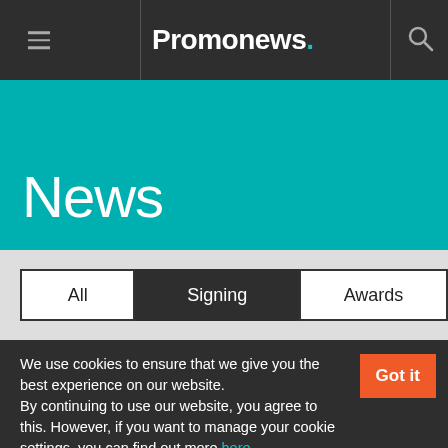Promonews.
News
All
Signing
Awards
We use cookies to ensure that we give you the best experience on our website. By continuing to use our website, you agree to this. However, if you want to manage your cookie settings, you can find out more here.